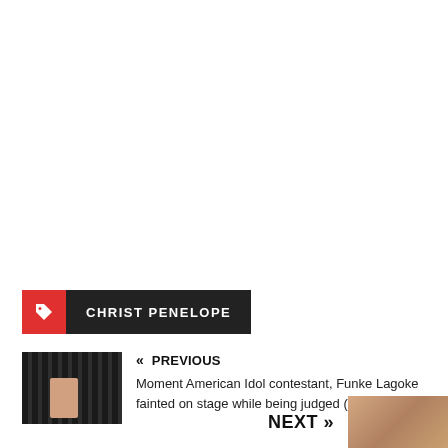CHRIST PENELOPE
« PREVIOUS
Moment American Idol contestant, Funke Lagoke fainted on stage while being judged (Video)
NEXT »